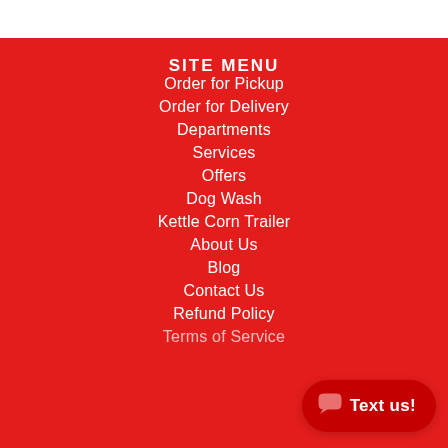SITE MENU
Order for Pickup
Order for Delivery
Departments
Services
Offers
Dog Wash
Kettle Corn Trailer
About Us
Blog
Contact Us
Refund Policy
Terms of Service
Text us!